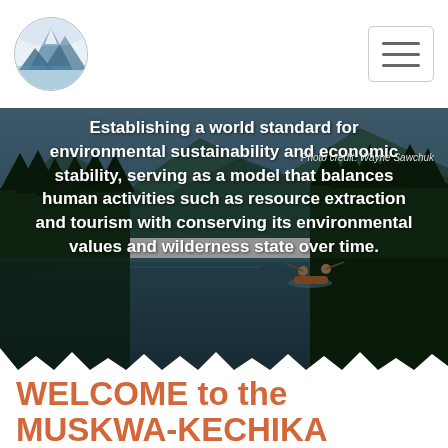Muskwa-Kechika Management Area website header with logo and navigation
[Figure (photo): Hero banner photograph of a wilderness lake with mountains, forest reflections, and two kayakers on the water. Text overlay reads: Establishing a world standard for environmental sustainability and economic stability, serving as a model that balances human activities such as resource extraction and tourism with conserving its environmental values and wilderness state over time. Photo credit: Wayne Sawchuk]
Photo credit: Wayne Sawchuk
WELCOME to the MUSKWA-KECHIKA Management Area!